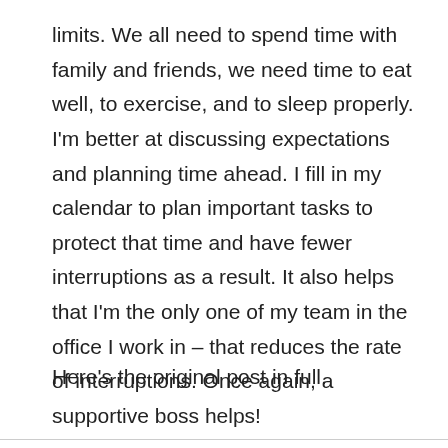limits. We all need to spend time with family and friends, we need time to eat well, to exercise, and to sleep properly. I'm better at discussing expectations and planning time ahead. I fill in my calendar to plan important tasks to protect that time and have fewer interruptions as a result. It also helps that I'm the only one of my team in the office I work in – that reduces the rate of interruptions. Once again, a supportive boss helps!
Here's the original post in full.